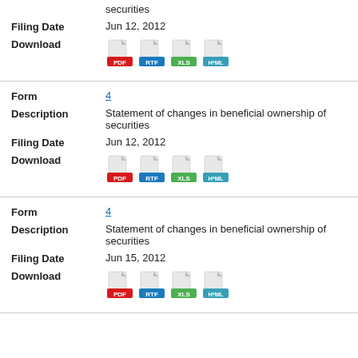securities
Filing Date: Jun 12, 2012
[Figure (other): Download icons: PDF, RTF, XLS, HTML]
Form: 4
Description: Statement of changes in beneficial ownership of securities
Filing Date: Jun 12, 2012
[Figure (other): Download icons: PDF, RTF, XLS, HTML]
Form: 4
Description: Statement of changes in beneficial ownership of securities
Filing Date: Jun 15, 2012
[Figure (other): Download icons: PDF, RTF, XLS, HTML]